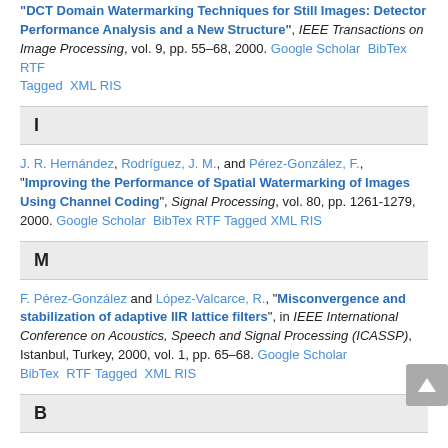"DCT Domain Watermarking Techniques for Still Images: Detector Performance Analysis and a New Structure", IEEE Transactions on Image Processing, vol. 9, pp. 55–68, 2000. Google Scholar BibTex RTF Tagged XML RIS
I
J. R. Hernández, Rodríguez, J. M., and Pérez-González, F., "Improving the Performance of Spatial Watermarking of Images Using Channel Coding", Signal Processing, vol. 80, pp. 1261-1279, 2000. Google Scholar BibTex RTF Tagged XML RIS
M
F. Pérez-González and López-Valcarce, R., "Misconvergence and stabilization of adaptive IIR lattice filters", in IEEE International Conference on Acoustics, Speech and Signal Processing (ICASSP), Istanbul, Turkey, 2000, vol. 1, pp. 65–68. Google Scholar BibTex RTF Tagged XML RIS
B